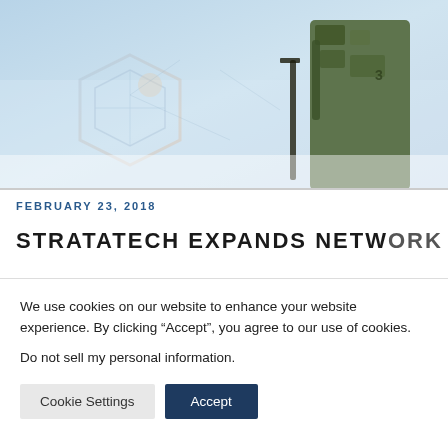[Figure (photo): Military soldier in camouflage gear holding a rifle, with a geometric shield logo overlaid on the left side. Sky background.]
FEBRUARY 23, 2018
STRATATECH EXPANDS NETWORK
We use cookies on our website to enhance your website experience. By clicking “Accept”, you agree to our use of cookies.
Do not sell my personal information.